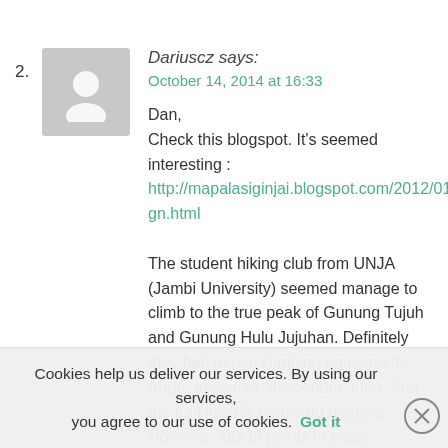2.
[Figure (illustration): Default grey user avatar silhouette icon]
Dariuscz says:
October 14, 2014 at 16:33
Dan,
Check this blogspot. It's seemed interesting :
http://mapalasiginjai.blogspot.com/2012/01/pendakian-gn.html
The student hiking club from UNJA (Jambi University) seemed manage to climb to the true peak of Gunung Tujuh and Gunung Hulu Jujuhan. Definitely they had to use climbing equipments (rope, ascender, descender, etc.). And the trail itself is nearly 90 degrees. However, lots of points to place
Cookies help us deliver our services. By using our services, you agree to our use of cookies.
Got it